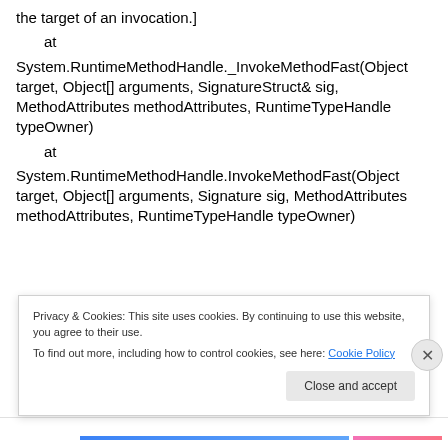the target of an invocation.]
at System.RuntimeMethodHandle._InvokeMethodFast(Object target, Object[] arguments, SignatureStruct& sig, MethodAttributes methodAttributes, RuntimeTypeHandle typeOwner)
at System.RuntimeMethodHandle.InvokeMethodFast(Object target, Object[] arguments, Signature sig, MethodAttributes methodAttributes, RuntimeTypeHandle typeOwner)
Privacy & Cookies: This site uses cookies. By continuing to use this website, you agree to their use.
To find out more, including how to control cookies, see here: Cookie Policy
Close and accept